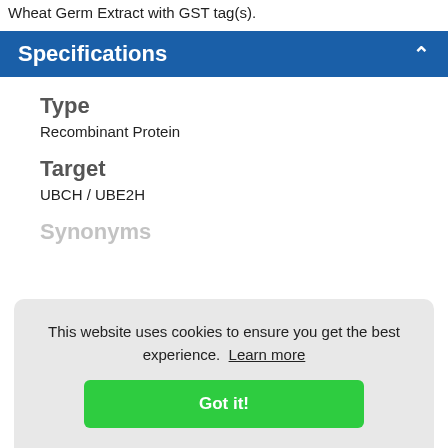Wheat Germ Extract with GST tag(s).
Specifications
Type
Recombinant Protein
Target
UBCH / UBE2H
Synonyms
This website uses cookies to ensure you get the best experience. Learn more
Got it!